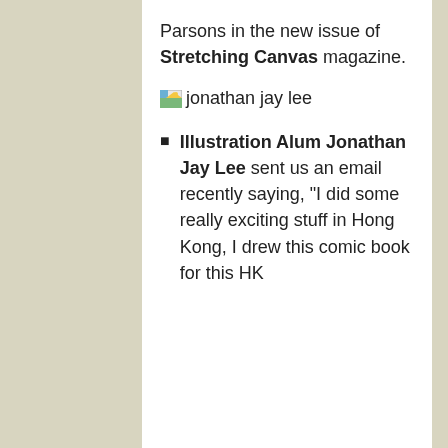Parsons in the new issue of Stretching Canvas magazine.
[Figure (photo): jonathan jay lee image placeholder]
Illustration Alum Jonathan Jay Lee sent us an email recently saying, “I did some really exciting stuff in Hong Kong, I drew this comic book for this HK